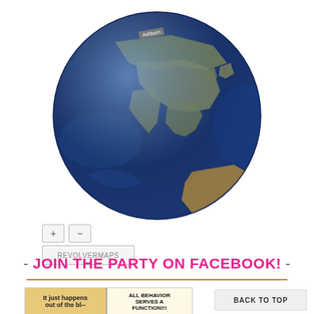[Figure (illustration): 3D rendered globe showing Asia-Pacific region with a location marker labeled 'Ashburn' near the top. Below the globe are zoom controls (+ and -) and a REVOLVERMAPS button.]
- JOIN THE PARTY ON FACEBOOK! -
[Figure (illustration): Comic strip image showing two panels: left panel reads 'It just happens out of the bl--' and right panel reads 'ALL BEHAVIOR SERVES A FUNCTION!!!']
BACK TO TOP